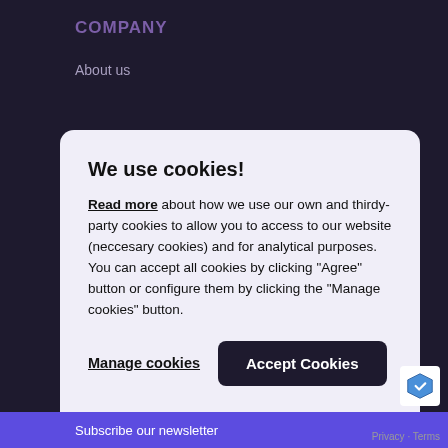COMPANY
About us
We use cookies!
Read more about how we use our own and thirdy-party cookies to allow you to access to our website (neccesary cookies) and for analytical purposes. You can accept all cookies by clicking "Agree" button or configure them by clicking the "Manage cookies" button.
Manage cookies   Accept Cookies
Subscribe our newsletter
Privacy · Terms